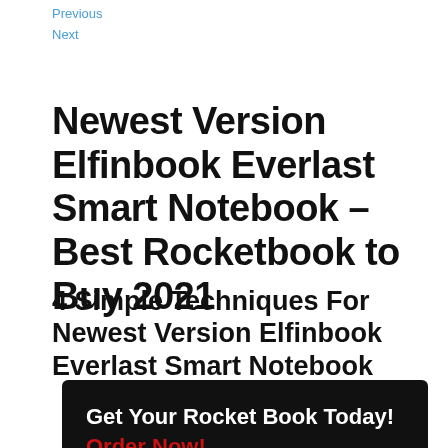Previous
Next
Newest Version Elfinbook Everlast Smart Notebook – Best Rocketbook to Buy 2021
4 Simple Techniques For Newest Version Elfinbook Everlast Smart Notebook
Get Your Rocket Book Today! Order Now!